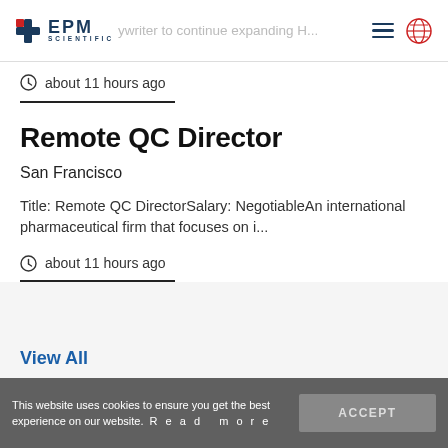EPM Scientific — navigation header with logo, hamburger menu, and globe icon
about 11 hours ago
Remote QC Director
San Francisco
Title: Remote QC DirectorSalary: NegotiableAn international pharmaceutical firm that focuses on i...
about 11 hours ago
View All
This website uses cookies to ensure you get the best experience on our website.  R e a d   m o r e